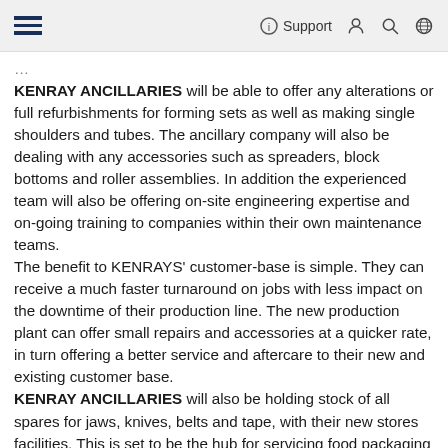≡  ⓘ Support 👤 🔍 🌐
KENRAY ANCILLARIES will be able to offer any alterations or full refurbishments for forming sets as well as making single shoulders and tubes. The ancillary company will also be dealing with any accessories such as spreaders, block bottoms and roller assemblies. In addition the experienced team will also be offering on-site engineering expertise and on-going training to companies within their own maintenance teams.
The benefit to KENRAYS' customer-base is simple. They can receive a much faster turnaround on jobs with less impact on the downtime of their production line. The new production plant can offer small repairs and accessories at a quicker rate, in turn offering a better service and aftercare to their new and existing customer base.
KENRAY ANCILLARIES will also be holding stock of all spares for jaws, knives, belts and tape, with their new stores facilities. This is set to be the hub for servicing food packaging